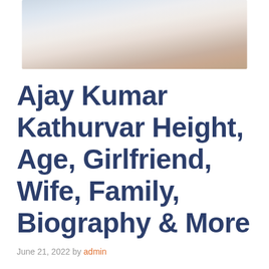[Figure (photo): Partial photo of Ajay Kumar Kathurvar, cropped at top showing clothing and background]
Ajay Kumar Kathurvar Height, Age, Girlfriend, Wife, Family, Biography & More
June 21, 2022 by admin
Quick Info→
Hometown: Nirmal, Telangana